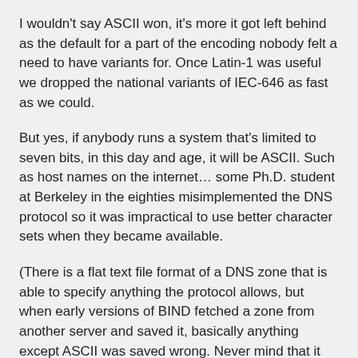I wouldn't say ASCII won, it's more it got left behind as the default for a part of the encoding nobody felt a need to have variants for. Once Latin-1 was useful we dropped the national variants of IEC-646 as fast as we could.
But yes, if anybody runs a system that's limited to seven bits, in this day and age, it will be ASCII. Such as host names on the internet… some Ph.D. student at Berkeley in the eighties misimplemented the DNS protocol so it was impractical to use better character sets when they became available.
(There is a flat text file format of a DNS zone that is able to specify anything the protocol allows, but when early versions of BIND fetched a zone from another server and saved it, basically anything except ASCII was saved wrong. Never mind that it would break if encountering domain labels containing periods or NULs in the OTW representation).